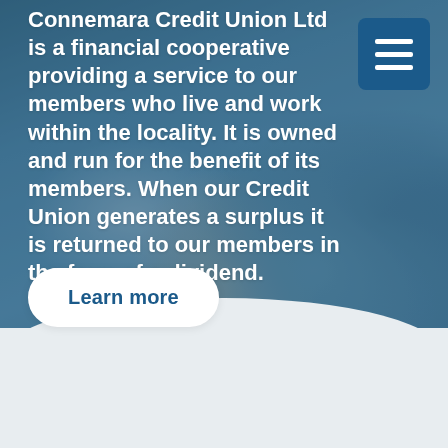[Figure (photo): Background photo of children playing on a rug, with a blue tint overlay. A curved white section appears at the bottom of the photo area.]
Connemara Credit Union Ltd is a financial cooperative providing a service to our members who live and work within the locality. It is owned and run for the benefit of its members. When our Credit Union generates a surplus it is returned to our members in the form of a dividend.
Learn more